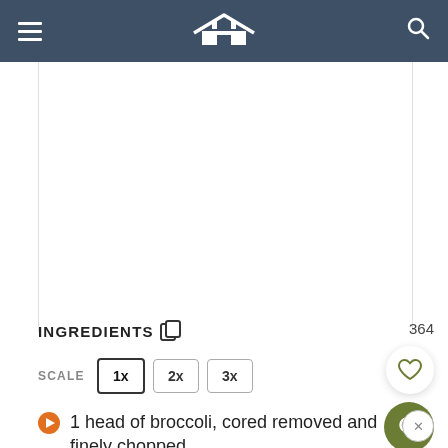Navigation header with hamburger menu, house logo, and search icon
[Figure (screenshot): Blank white content area above ingredients section]
INGREDIENTS  364
SCALE  1x  2x  3x
1 head of broccoli, cored removed and finely chopped
3 stalks of celery, chopped